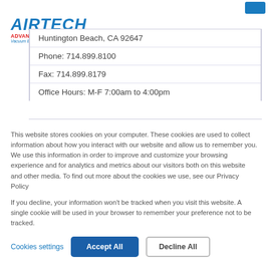[Figure (logo): Airtech Advanced Materials Group logo — blue italic AIRTECH text, red ADVANCED MATERIALS GROUP subtitle, blue italic Vacuum Bagging & Composite Tooling Materials tagline]
Huntington Beach, CA 92647
Phone: 714.899.8100
Fax: 714.899.8179
Office Hours: M-F 7:00am to 4:00pm
This website stores cookies on your computer. These cookies are used to collect information about how you interact with our website and allow us to remember you. We use this information in order to improve and customize your browsing experience and for analytics and metrics about our visitors both on this website and other media. To find out more about the cookies we use, see our Privacy Policy
If you decline, your information won't be tracked when you visit this website. A single cookie will be used in your browser to remember your preference not to be tracked.
Cookies settings
Accept All
Decline All